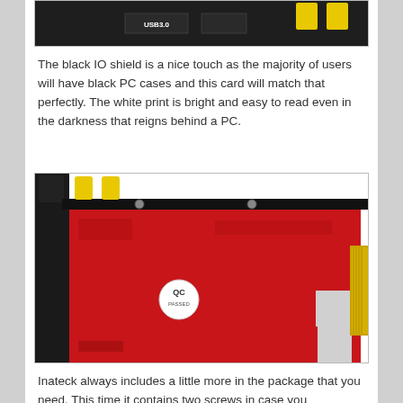[Figure (photo): Partial view of a black IO shield/bracket with USB 3.0 label and yellow port caps]
The black IO shield is a nice touch as the majority of users will have black PC cases and this card will match that perfectly. The white print is bright and easy to read even in the darkness that reigns behind a PC.
[Figure (photo): Back side of a red PCIe expansion card showing the red PCB with a black IO bracket, two yellow port caps at top-left, various electronic components, a QC sticker, and gold PCIe connector edge on the right]
Inateck always includes a little more in the package that you need. This time it contains two screws in case you